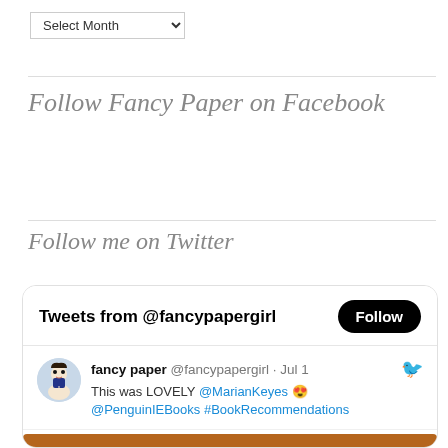Select Month (dropdown)
Follow Fancy Paper on Facebook
Follow me on Twitter
[Figure (screenshot): Twitter widget showing tweets from @fancypapergirl with a Follow button, and a tweet from 'fancy paper @fancypapergirl · Jul 1' saying 'This was LOVELY @MarianKeyes 😍 @PenguinIEBooks #BookRecommendations' with a book cover image banner at the bottom.]